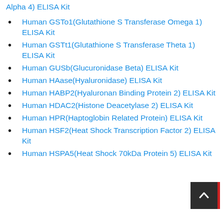Human GSTo1(Glutathione S Transferase Omega 1) ELISA Kit
Human GSTt1(Glutathione S Transferase Theta 1) ELISA Kit
Human GUSb(Glucuronidase Beta) ELISA Kit
Human HAase(Hyaluronidase) ELISA Kit
Human HABP2(Hyaluronan Binding Protein 2) ELISA Kit
Human HDAC2(Histone Deacetylase 2) ELISA Kit
Human HPR(Haptoglobin Related Protein) ELISA Kit
Human HSF2(Heat Shock Transcription Factor 2) ELISA Kit
Human HSPA5(Heat Shock 70kDa Protein 5) ELISA Kit